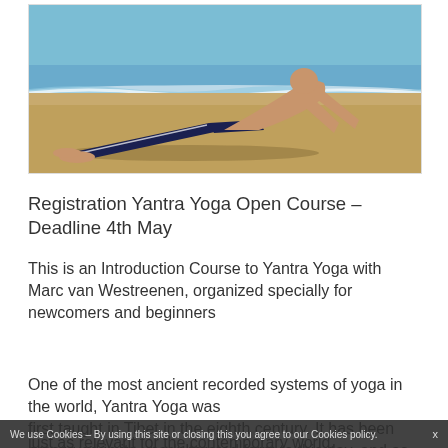[Figure (photo): Person performing a yoga pose (cobra/upward dog) on a beach by the ocean, wearing dark navy pants, sandy beach with ocean waves in background]
Registration Yantra Yoga Open Course – Deadline 4th May
This is an Introduction Course to Yantra Yoga with Marc van Westreenen, organized specially for newcomers and beginners
One of the most ancient recorded systems of yoga in the world, Yantra Yoga was first taught in Tibet in the eighth century. It has been preserved in its unadulterated form to this day, and as an excellent method for attaining optimal health andrelaxation is just as relevant for the contemporary world. Emphasizing the
We use Cookies – By using this site or closing this you agree to our Cookies policy.   x